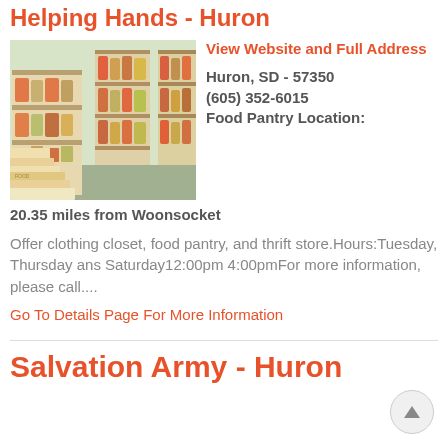Helping Hands - Huron
[Figure (photo): Interior photo of a food pantry with stocked shelves of canned goods and boxed food items.]
View Website and Full Address
Huron, SD - 57350
(605) 352-6015
Food Pantry Location:
20.35 miles from Woonsocket
Offer clothing closet, food pantry, and thrift store.Hours:Tuesday, Thursday ans Saturday12:00pm 4:00pmFor more information, please call....
Go To Details Page For More Information
Salvation Army - Huron